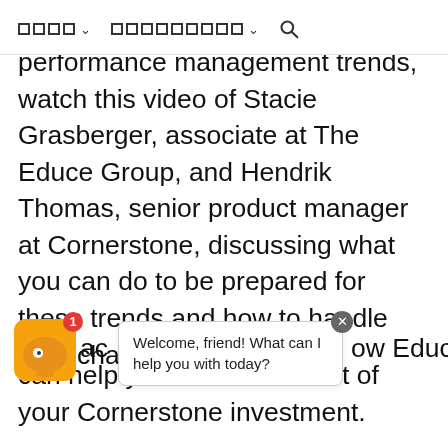□□□□ ▾   □□□□□□□□□ ▾   🔍
performance management trends, watch this video of Stacie Grasberger, associate at The Educe Group, and Hendrik Thomas, senior product manager at Cornerstone, discussing what you can do to be prepared for these trends and how to handle their challenges.
...ow Educe can help you make the most of your Cornerstone investment.
[Figure (screenshot): Chat widget with orange avatar showing red badge with '1', and speech bubble saying 'Welcome, friend! What can I help you with today?' with a close (X) button]